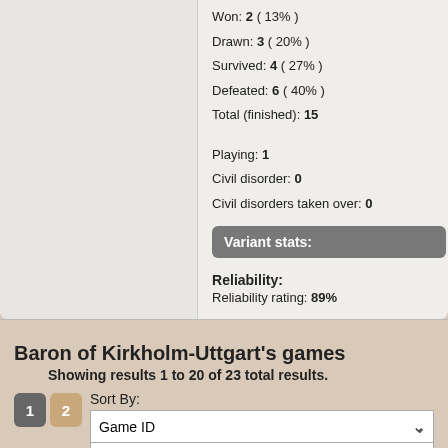Won: 2 ( 13% )
Drawn: 3 ( 20% )
Survived: 4 ( 27% )
Defeated: 6 ( 40% )
Total (finished): 15
Playing: 1
Civil disorder: 0
Civil disorders taken over: 0
Variant stats:
Reliability:
Reliability rating: 89%
Baron of Kirkholm-Uttgart's games
Showing results 1 to 20 of 23 total results.
Sort By:
Game ID
Descending